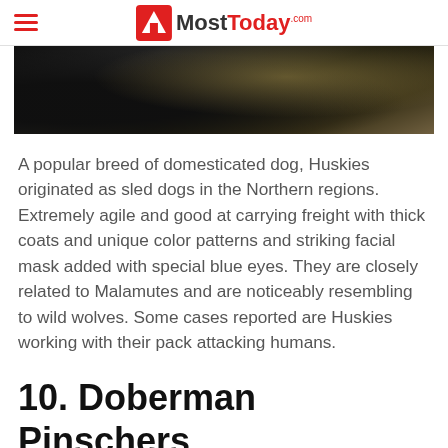MostToday.com
[Figure (photo): Close-up photo of a Husky dog, showing dark and light fur with a blurred background]
A popular breed of domesticated dog, Huskies originated as sled dogs in the Northern regions. Extremely agile and good at carrying freight with thick coats and unique color patterns and striking facial mask added with special blue eyes. They are closely related to Malamutes and are noticeably resembling to wild wolves. Some cases reported are Huskies working with their pack attacking humans.
10. Doberman Pinschers